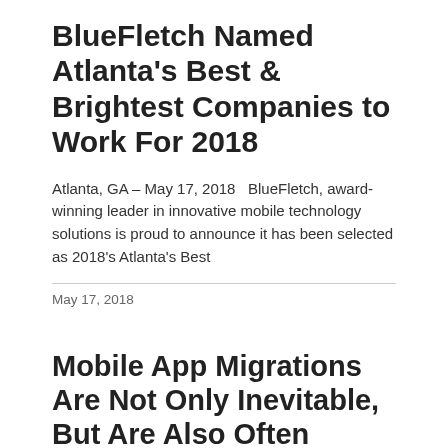BlueFletch Named Atlanta's Best & Brightest Companies to Work For 2018
Atlanta, GA – May 17, 2018  BlueFletch, award-winning leader in innovative mobile technology solutions is proud to announce it has been selected as 2018's Atlanta's Best
May 17, 2018
Mobile App Migrations Are Not Only Inevitable, But Are Also Often Business-Critical
There is a great deal of hype these days about